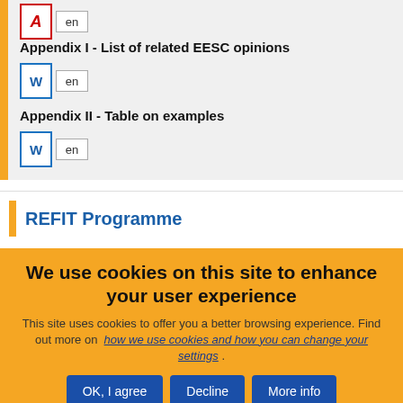[Figure (screenshot): PDF icon with 'en' language tag button]
Appendix I - List of related EESC opinions
[Figure (screenshot): Word document icon with 'en' language tag button]
Appendix II - Table on examples
[Figure (screenshot): Word document icon with 'en' language tag button]
REFIT Programme
We use cookies on this site to enhance your user experience
This site uses cookies to offer you a better browsing experience. Find out more on how we use cookies and how you can change your settings .
OK, I agree
Decline
More info